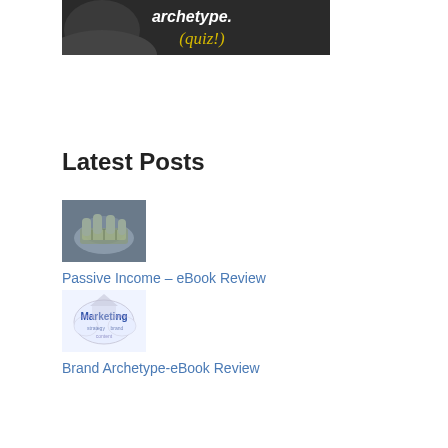[Figure (photo): Dark background image with text 'archetype.' and '(quiz!)' in yellow cursive font, partially showing a person's face]
Latest Posts
[Figure (photo): Photo of hands holding money/cash bills]
Passive Income – eBook Review
[Figure (photo): Marketing word cloud image with 'Marketing' prominently displayed]
Brand Archetype-eBook Review